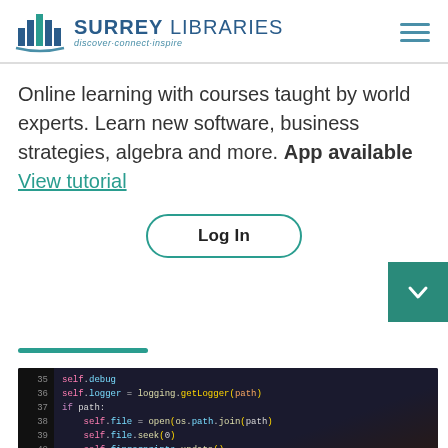[Figure (logo): Surrey Libraries logo with bar chart icon and tagline 'discover·connect·inspire']
Online learning with courses taught by world experts. Learn new software, business strategies, algebra and more. App available View tutorial
[Figure (other): Log In button with teal rounded border]
[Figure (other): Teal chevron down button on right side]
[Figure (photo): Photo of computer screen showing Python code with line numbers 35-44, colored syntax highlighting on dark background]